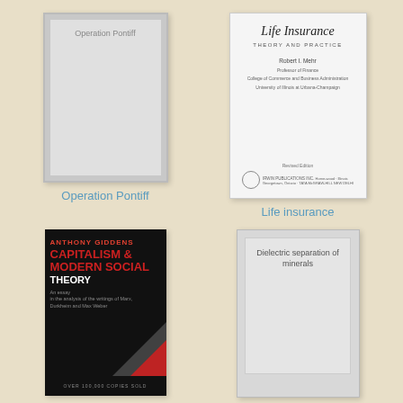[Figure (illustration): Book cover for 'Operation Pontiff' - gray cover with title text at top]
[Figure (illustration): Book cover for 'Life Insurance: Theory and Practice' by Robert I. Mehr - white cover with title, author, and publisher info]
Operation Pontiff
Life insurance
[Figure (illustration): Book cover for 'Capitalism and Modern Social Theory' by Anthony Giddens - black cover with red and white bold text, diagonal graphic at bottom right]
[Figure (illustration): Book cover for 'Dielectric separation of minerals' - gray placeholder cover with title text]
Capitalism and Modern
Dielectric separation of